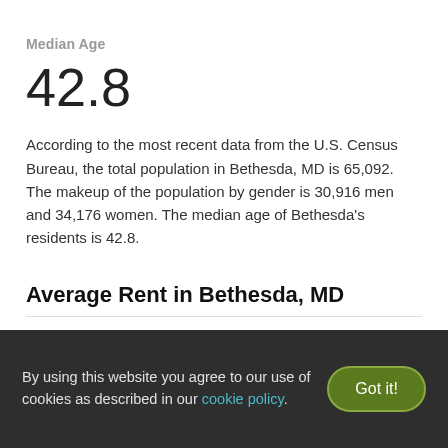Median Age
42.8
According to the most recent data from the U.S. Census Bureau, the total population in Bethesda, MD is 65,092. The makeup of the population by gender is 30,916 men and 34,176 women. The median age of Bethesda's residents is 42.8.
Average Rent in Bethesda, MD
Bethesda, MD Average Rental Price, July 2022
By using this website you agree to our use of cookies as described in our cookie policy.